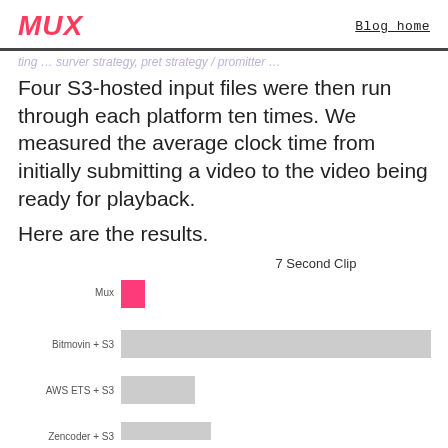MUX   Blog home
…ing … (cropped/partial line of text)
Four S3-hosted input files were then run through each platform ten times. We measured the average clock time from initially submitting a video to the video being ready for playback.
Here are the results.
[Figure (bar-chart): 7 Second Clip]